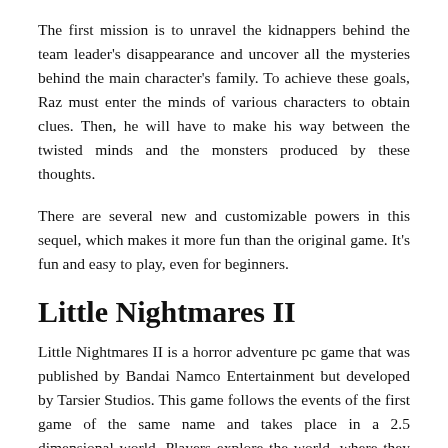The first mission is to unravel the kidnappers behind the team leader's disappearance and uncover all the mysteries behind the main character's family. To achieve these goals, Raz must enter the minds of various characters to obtain clues. Then, he will have to make his way between the twisted minds and the monsters produced by these thoughts.
There are several new and customizable powers in this sequel, which makes it more fun than the original game. It's fun and easy to play, even for beginners.
Little Nightmares II
Little Nightmares II is a horror adventure pc game that was published by Bandai Namco Entertainment but developed by Tarsier Studios. This game follows the events of the first game of the same name and takes place in a 2.5 dimensional world. Players explore the world, where they encounter platform like